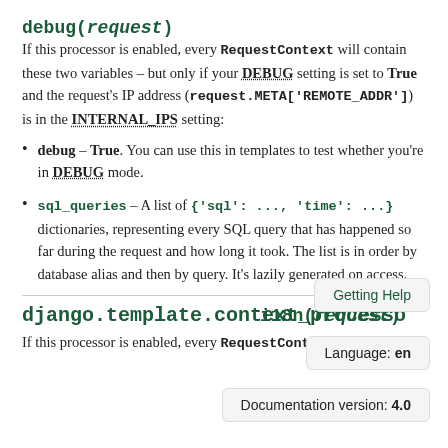debug(request)
If this processor is enabled, every RequestContext will contain these two variables – but only if your DEBUG setting is set to True and the request's IP address (request.META['REMOTE_ADDR']) is in the INTERNAL_IPS setting:
debug – True. You can use this in templates to test whether you're in DEBUG mode.
sql_queries – A list of {'sql': ..., 'time': ...} dictionaries, representing every SQL query that has happened so far during the request and how long it took. The list is in order by database alias and then by query. It's lazily generated on access.
Getting Help
django.template.context_processo
Language: en
i18n(request)
Documentation version: 4.0
If this processor is enabled, every RequestContext will contain